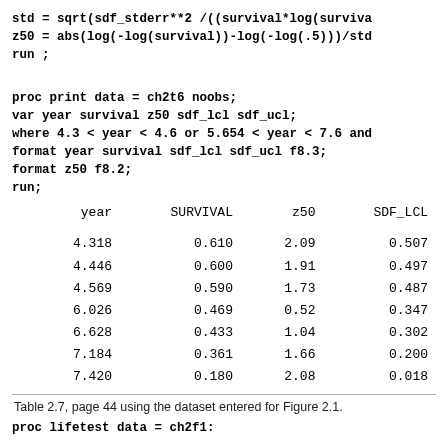std = sqrt(sdf_stderr**2 /((survival*log(survival)**2))
z50 = abs(log(-log(survival))-log(-log(.5)))/std
run ;
proc print data = ch2t6 noobs;
var year survival z50 sdf_lcl sdf_ucl;
where 4.3 < year < 4.6 or 5.654 < year < 7.6 and
format year survival sdf_lcl sdf_ucl f8.3;
format z50 f8.2;
run;
| year | SURVIVAL | z50 | SDF_LCL |
| --- | --- | --- | --- |
| 4.318 | 0.610 | 2.09 | 0.507 |
| 4.446 | 0.600 | 1.91 | 0.497 |
| 4.569 | 0.590 | 1.73 | 0.487 |
| 6.026 | 0.469 | 0.52 | 0.347 |
| 6.628 | 0.433 | 1.04 | 0.302 |
| 7.184 | 0.361 | 1.66 | 0.200 |
| 7.420 | 0.180 | 2.08 | 0.018 |
Table 2.7, page 44 using the dataset entered for Figure 2.1.
proc lifetest data = ch2f1;